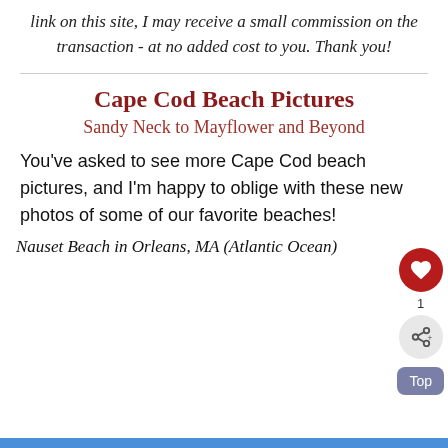link on this site, I may receive a small commission on the transaction - at no added cost to you. Thank you!
Cape Cod Beach Pictures
Sandy Neck to Mayflower and Beyond
You've asked to see more Cape Cod beach pictures, and I'm happy to oblige with these new photos of some of our favorite beaches!
Nauset Beach in Orleans, MA (Atlantic Ocean)